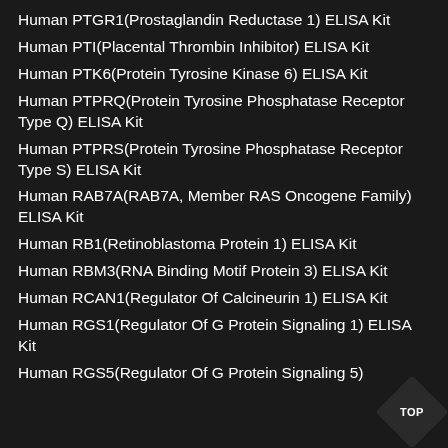Human PTGR1(Prostaglandin Reductase 1) ELISA Kit
Human PTI(Placental Thrombin Inhibitor) ELISA Kit
Human PTK6(Protein Tyrosine Kinase 6) ELISA Kit
Human PTPRQ(Protein Tyrosine Phosphatase Receptor Type Q) ELISA Kit
Human PTPRS(Protein Tyrosine Phosphatase Receptor Type S) ELISA Kit
Human RAB7A(RAB7A, Member RAS Oncogene Family) ELISA Kit
Human RB1(Retinoblastoma Protein 1) ELISA Kit
Human RBM3(RNA Binding Motif Protein 3) ELISA Kit
Human RCAN1(Regulator Of Calcineurin 1) ELISA Kit
Human RGS1(Regulator Of G Protein Signaling 1) ELISA Kit
Human RGS5(Regulator Of G Protein Signaling 5)